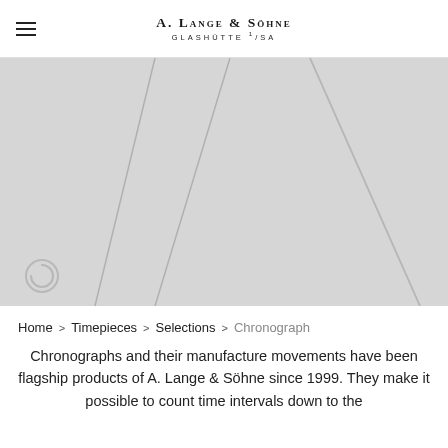A. Lange & Söhne — Glashütte USA
[Figure (photo): Gray placeholder image area showing crossed diagonal lines (watch hands or similar graphic element) on a light gray background with a circular icon in the lower left corner]
Home > Timepieces > Selections > Chronograph
Chronographs and their manufacture movements have been flagship products of A. Lange & Söhne since 1999. They make it possible to count time intervals down to the